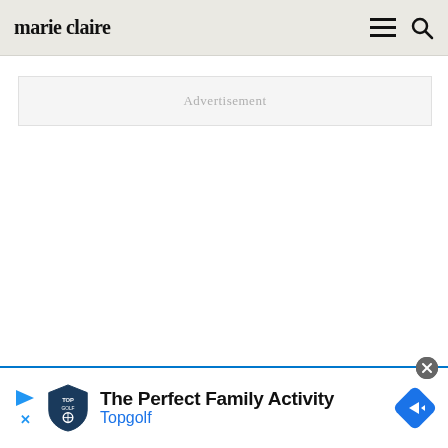marie claire
Advertisement
[Figure (infographic): Bottom advertisement banner for Topgolf: 'The Perfect Family Activity' with Topgolf logo (shield shape) and a blue diamond navigation icon on the right. Left side has play arrow and close X icons in blue.]